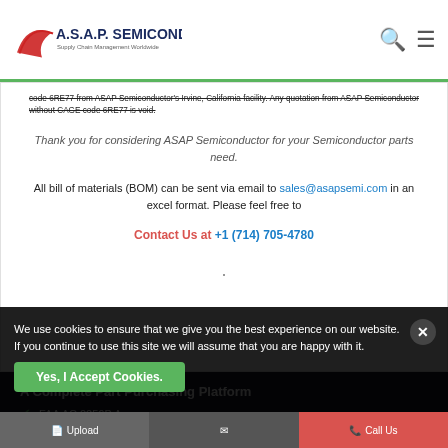A.S.A.P. Semiconductor – Supply Chain Management Worldwide
code 6RE77 from ASAP Semiconductor's Irvine, California facility. Any quotation from ASAP Semiconductor without CAGE code 6RE77 is void.
Thank you for considering ASAP Semiconductor for your Semiconductor parts need.
All bill of materials (BOM) can be sent via email to sales@asapsemi.com in an excel format. Please feel free to
Contact Us at +1 (714) 705-4780
A Complete Part Purchasing Platform
AS9120B and ISO 9001:2015
FAA AC 0056B A...
We use cookies to ensure that we give you the best experience on our website. If you continue to use this site we will assume that you are happy with it.
Yes, I Accept Cookies.